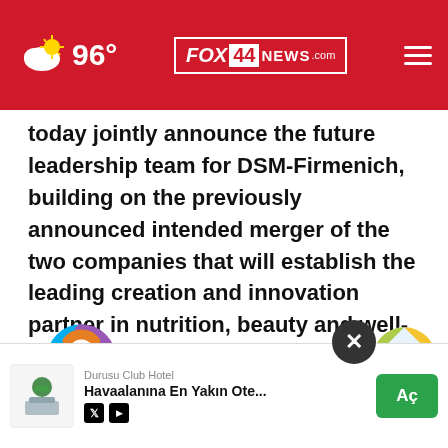96° FOX 44 NEWS.com
today jointly announce the future leadership team for DSM-Firmenich, building on the previously announced intended merger of the two companies that will establish the leading creation and innovation partner in nutrition, beauty and well-being.
[Figure (logo): DSM logo (colorful spiral icon with blue DSM text) and Firmenich logo (blue Firmenich text with yellow/green circular icon)]
The r... will have ... ls